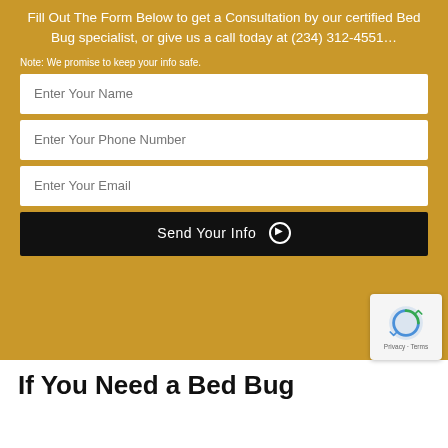Fill Out The Form Below to get a Consultation by our certified Bed Bug specialist, or give us a call today at (234) 312-4551…
Note: We promise to keep your info safe.
Enter Your Name
Enter Your Phone Number
Enter Your Email
Send Your Info ▶
If You Need a Bed Bug Relief Near Euclid, Oh…